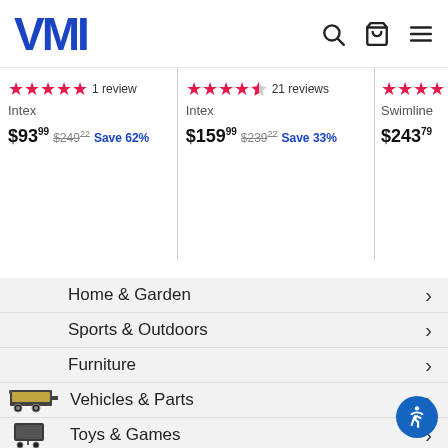VMI
★★★★★ 1 review
Intex
$93.99  $249.22  Save 62%
★★★★½ 21 reviews
Intex
$159.99  $239.22  Save 33%
★★★
Swimline
$243.79
Home & Garden
Sports & Outdoors
Furniture
Vehicles & Parts
Toys & Games